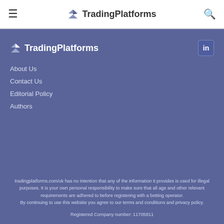TradingPlatforms
[Figure (logo): TradingPlatforms logo with diamond/arrow icon and bold text in footer area]
About Us
Contact Us
Editorial Policy
Authors
tradingplatforms.com/uk has no intention that any of the information it provides is used for illegal purposes. It is your own personal responsibility to make sure that all age and other relevant requirements are adhered to before registering with a betting operator.
By continuing to use this website you agree to our terms and conditions and privacy policy.
Registered Company number: 11705811